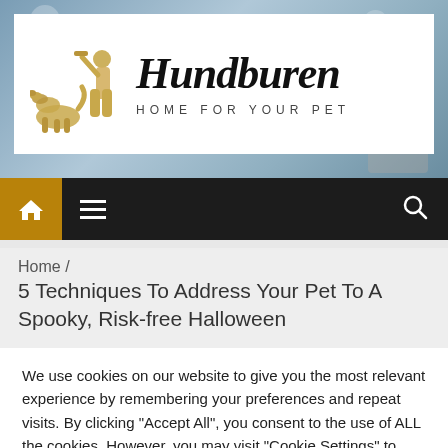[Figure (logo): Hundburen website header logo with illustration of a person training a dog (golden/amber silhouette), large italic bold text 'Hundburen' and subtitle 'HOME FOR YOUR PET' on white background over a winter scene photo background.]
[Figure (screenshot): Dark navigation bar with amber/gold home icon button on left, hamburger menu icon, and search icon on right.]
Home /
5 Techniques To Address Your Pet To A Spooky, Risk-free Halloween
We use cookies on our website to give you the most relevant experience by remembering your preferences and repeat visits. By clicking "Accept All", you consent to the use of ALL the cookies. However, you may visit "Cookie Settings" to provide a controlled consent.